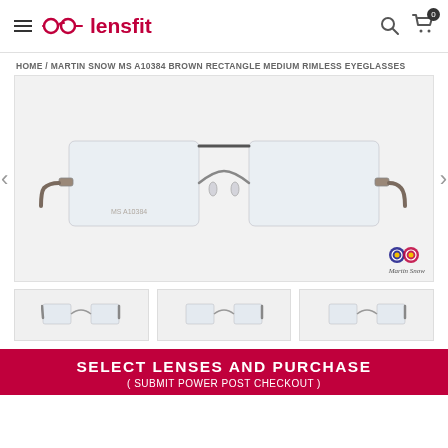lensfit
HOME / MARTIN SNOW MS A10384 BROWN RECTANGLE MEDIUM RIMLESS EYEGLASSES
[Figure (photo): Product photo of Martin Snow MS A10384 Brown Rectangle Medium Rimless Eyeglasses on a light grey background, with Martin Snow brand logo in bottom right corner. Navigation arrows visible on each side.]
[Figure (photo): Thumbnail image 1 of rimless eyeglasses]
[Figure (photo): Thumbnail image 2 of rimless eyeglasses]
[Figure (photo): Thumbnail image 3 of rimless eyeglasses]
SELECT LENSES AND PURCHASE
( SUBMIT POWER POST CHECKOUT )